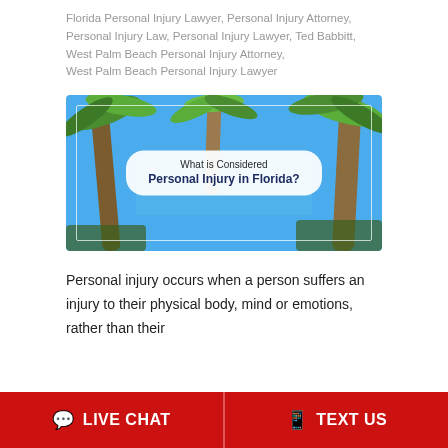Florida Personal Injury Lawyer, Personal Injury Attorney, Personal Injury Law, Personal Injury Lawyer, Ted Babbitt, West Palm Beach Personal Injury Attorney, West Palm Beach Personal Injury Lawyer
[Figure (photo): Photo of palm trees against a blue sky with a white rounded rectangle overlay containing the text 'What is Considered Personal Injury in Florida?']
Personal injury occurs when a person suffers an injury to their physical body, mind or emotions, rather than their
LIVE CHAT   TEXT US